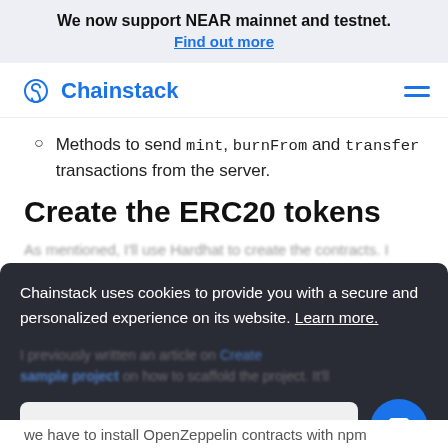We now support NEAR mainnet and testnet.
Find out more
[Figure (logo): Chainstack logo with navigation hamburger menu]
Methods to send mint, burnFrom and transfer transactions from the server.
Create the ERC20 tokens
Chainstack uses cookies to provide you with a secure and personalized experience on its website. Learn more.
Accept
we have to install OpenZeppelin contracts with npm